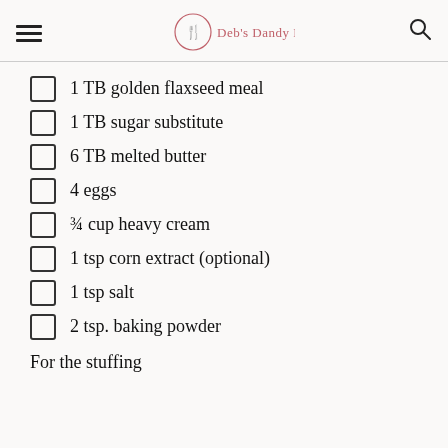Deb's Dandy Dish
1 TB golden flaxseed meal
1 TB sugar substitute
6 TB melted butter
4 eggs
¾ cup heavy cream
1 tsp corn extract (optional)
1 tsp salt
2 tsp. baking powder
For the stuffing